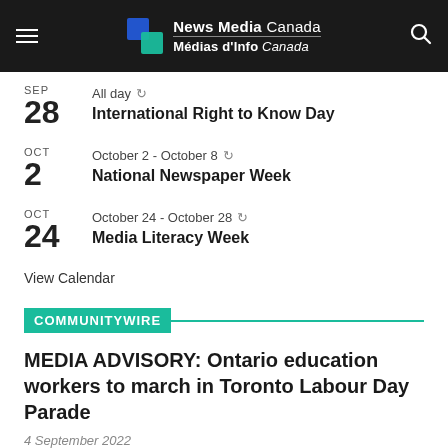News Media Canada / Médias d'Info Canada
SEP 28 – All day – International Right to Know Day
OCT 2 – October 2 - October 8 – National Newspaper Week
OCT 24 – October 24 - October 28 – Media Literacy Week
View Calendar
COMMUNITYWIRE
MEDIA ADVISORY: Ontario education workers to march in Toronto Labour Day Parade
4 September 2022